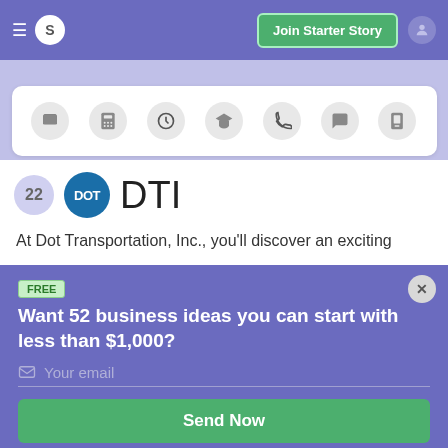S  Join Starter Story
[Figure (screenshot): Icon strip with circular icons: bus, calculator, clock, graduation cap, phone, chat, telephone]
22  DTI
At Dot Transportation, Inc., you'll discover an exciting
FREE
Want 52 business ideas you can start with less than $1,000?
Your email
Send Now